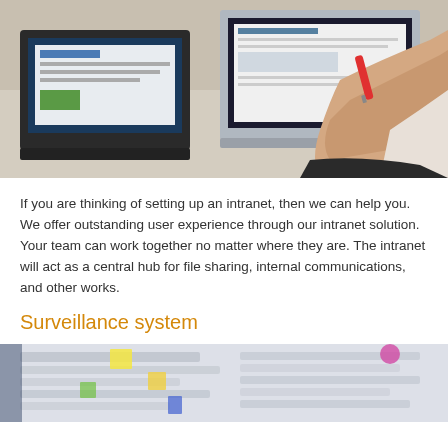[Figure (photo): Person sitting at a desk with two laptops open, holding a red marker, with a black mouse on the desk surface. Office work setting.]
If you are thinking of setting up an intranet, then we can help you. We offer outstanding user experience through our intranet solution. Your team can work together no matter where they are. The intranet will act as a central hub for file sharing, internal communications, and other works.
Surveillance system
[Figure (photo): Blurred image showing sticky notes or papers pinned to a whiteboard or wall, with colorful elements visible.]